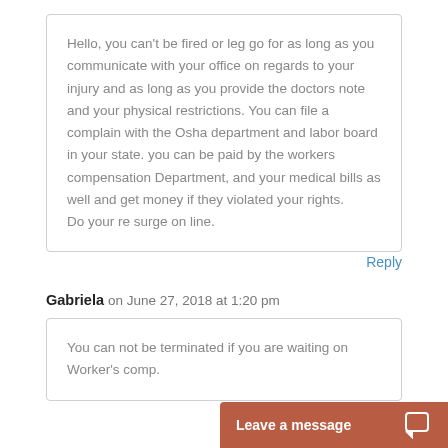Hello, you can't be fired or leg go for as long as you communicate with your office on regards to your injury and as long as you provide the doctors note and your physical restrictions. You can file a complain with the Osha department and labor board in your state. you can be paid by the workers compensation Department, and your medical bills as well and get money if they violated your rights.
Do your re surge on line.
Reply
Gabriela on June 27, 2018 at 1:20 pm
You can not be terminated if you are waiting on Worker's comp.
Leave a message